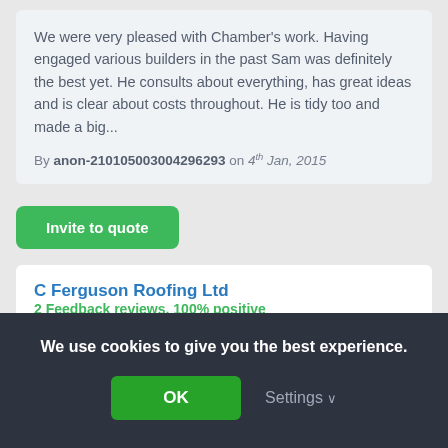We were very pleased with Chamber's work. Having engaged various builders in the past Sam was definitely the best yet. He consults about everything, has great ideas and is clear about costs throughout. He is tidy too and made a big...
By anon-210105003004296293 on 4th Jan, 2015
Invite to quote
C Ferguson Roofing Ltd
2 Feedback reviews, 100% positive
New Home Builder working in Bromsgrove.
We use cookies to give you the best experience.
OK
Settings